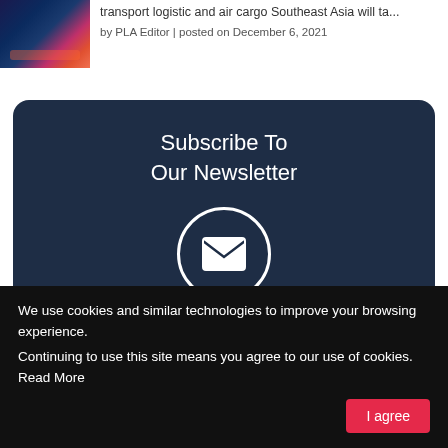[Figure (photo): Thumbnail image of Singapore skyline at night with colorful lights reflected on water]
transport logistic and air cargo Southeast Asia will ta...
by PLA Editor | posted on December 6, 2021
Subscribe To Our Newsletter
[Figure (illustration): White envelope icon inside a white circle on dark blue background]
We use cookies and similar technologies to improve your browsing experience.
Continuing to use this site means you agree to our use of cookies.   Read More